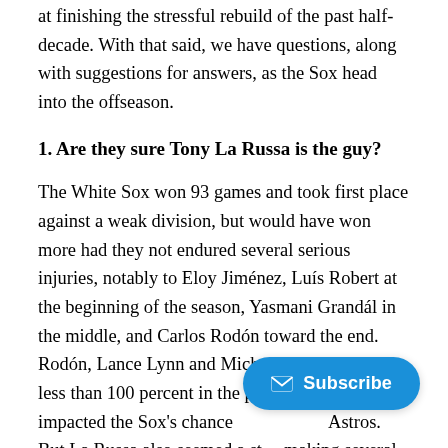at finishing the stressful rebuild of the past half-decade. With that said, we have questions, along with suggestions for answers, as the Sox head into the offseason.
1. Are they sure Tony La Russa is the guy?
The White Sox won 93 games and took first place against a weak division, but would have won more had they not endured several serious injuries, notably to Eloy Jiménez, Luís Robert at the beginning of the season, Yasmani Grandál in the middle, and Carlos Rodón toward the end. Rodón, Lance Lynn and Michael Kopech being less than 100 percent in the playoffs definitely impacted the Sox's chances against the Astros. But La Russa also seemed a step... making several pitching changes, especially in the early